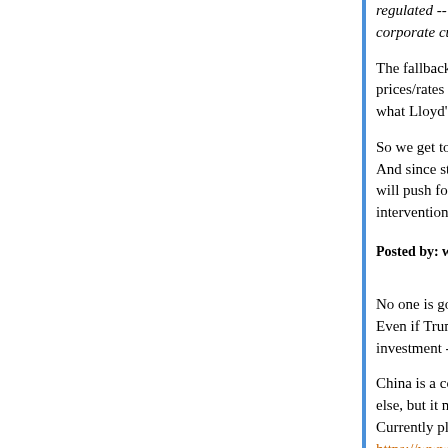regulated -- and make it illegal to discriminate aga... corporate customer.
The fallback, for the insurance companies, is to s... prices/rates high enough that coal companies ca... what Lloyd's rates would be as well.)
So we get to government insurance (or subsidies)... And since states where coal mining is big tend no... will push for a Federal solution. No matter what th... intervention in state affairs.
Posted by: wj | December 02, 2019 at 11:31 AM
No one is going to build new coal plants in the US... Even if Trump is re-elected, a five year timescale... investment - and the risk is that they might be ino...
China is a conundrum. They have more new coal... else, but it might not get built. Currently plant utilisation is lower than the rest of... https://www.carbonbrief.org/analysis-global-coal-p
A world habitable for our grandchildren is on a kni...